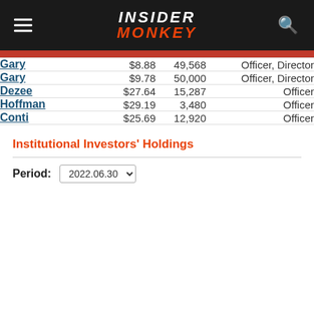INSIDER MONKEY
| Name | Price | Shares | Role |
| --- | --- | --- | --- |
| Gary | $8.88 | 49,568 | Officer, Director |
| Gary | $9.78 | 50,000 | Officer, Director |
| Dezee | $27.64 | 15,287 | Officer |
| Hoffman | $29.19 | 3,480 | Officer |
| Conti | $25.69 | 12,920 | Officer |
Institutional Investors' Holdings
Period: 2022.06.30